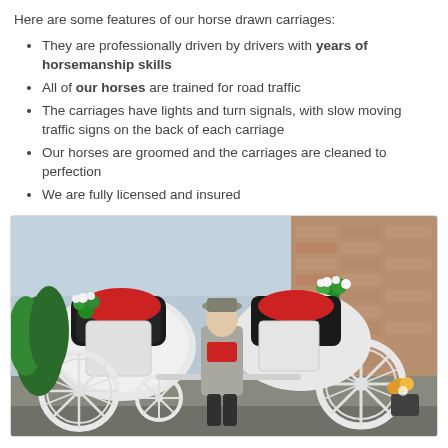Here are some features of our horse drawn carriages:
They are professionally driven by drivers with years of horsemanship skills
All of our horses are trained for road traffic
The carriages have lights and turn signals, with slow moving traffic signs on the back of each carriage
Our horses are groomed and the carriages are cleaned to perfection
We are fully licensed and insured
[Figure (photo): A woman dressed in a grey suit and red scarf, wearing a grey hat, standing next to a decorated white horse-drawn carriage adorned with white flowers. The carriage is parked inside what appears to a large building or hall with brick walls visible in the background.]